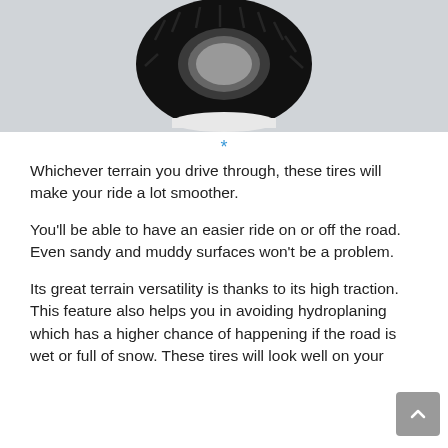[Figure (photo): A black off-road tire standing upright on a white round platform against a light grey background.]
*
Whichever terrain you drive through, these tires will make your ride a lot smoother.
You'll be able to have an easier ride on or off the road. Even sandy and muddy surfaces won't be a problem.
Its great terrain versatility is thanks to its high traction. This feature also helps you in avoiding hydroplaning which has a higher chance of happening if the road is wet or full of snow. These tires will look well on your